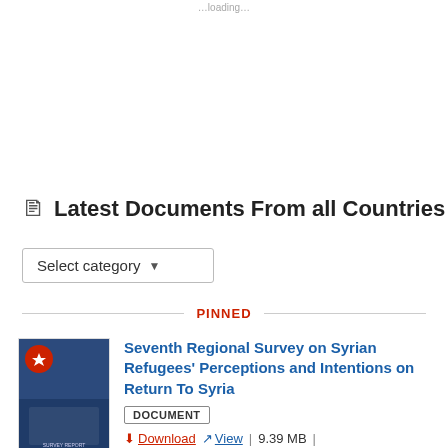…loading…
Latest Documents From all Countries
Select category ▾
PINNED
Seventh Regional Survey on Syrian Refugees' Perceptions and Intentions on Return To Syria
DOCUMENT
Download  View  |  9.39 MB  |
Download Count: 288
Seventh Regional Survey…